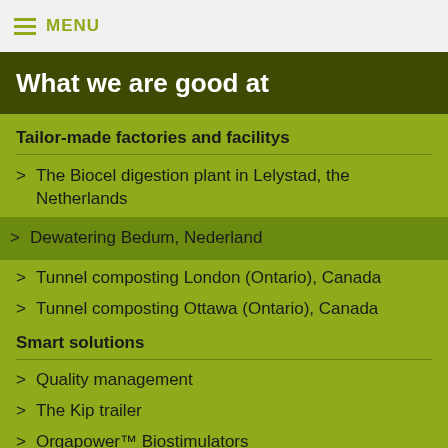MENU
What we are good at
Tailor-made factories and facilitys
The Biocel digestion plant in Lelystad, the Netherlands
Dewatering Bedum, Nederland
Tunnel composting London (Ontario), Canada
Tunnel composting Ottawa (Ontario), Canada
Smart solutions
Quality management
The Kip trailer
Orgapower™ Biostimulators
The sustainable production of phosphates
Security of outlet